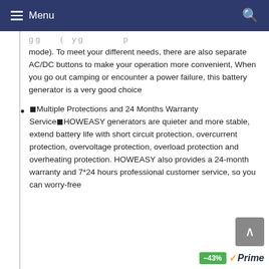Menu
g g ( y g p mode). To meet your different needs, there are also separate AC/DC buttons to make your operation more convenient, When you go out camping or encounter a power failure, this battery generator is a very good choice
◼Multiple Protections and 24 Months Warranty Service◼HOWEASY generators are quieter and more stable, extend battery life with short circuit protection, overcurrent protection, overvoltage protection, overload protection and overheating protection. HOWEASY also provides a 24-month warranty and 7*24 hours professional customer service, so you can worry-free